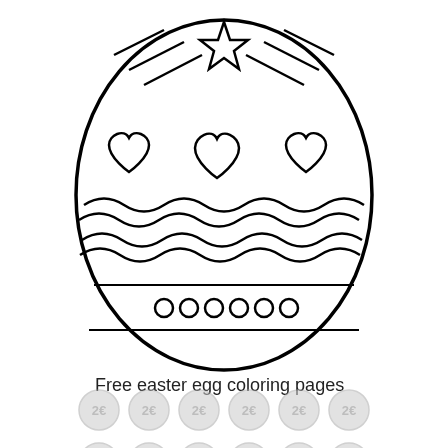[Figure (illustration): Easter egg coloring page outline. The egg has decorative patterns including diagonal lines at the top, a star shape at the top center, three heart shapes in a row in the upper middle section, two rows of wavy lines in the middle, a horizontal band near the bottom, and a row of small circles along the bottom band. All outlines are black on white background.]
Free easter egg coloring pages
[Figure (illustration): Two rows of 6 small coin images each, showing 2 euro coins in grayscale/light gray tone, arranged in a grid pattern at the bottom of the page.]